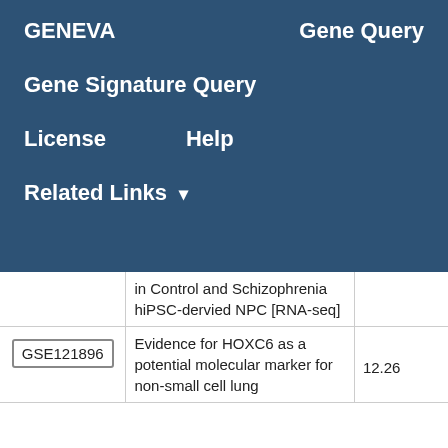GENEVA    Gene Query
Gene Signature Query
License    Help
Related Links ▾
| ID | Description | Score |
| --- | --- | --- |
|  | in Control and Schizophrenia hiPSC-dervied NPC [RNA-seq] |  |
| GSE121896 | Evidence for HOXC6 as a potential molecular marker for non-small cell lung | 12.26 |